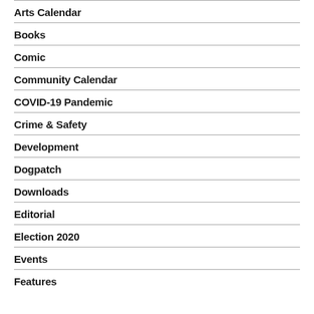Arts Calendar
Books
Comic
Community Calendar
COVID-19 Pandemic
Crime & Safety
Development
Dogpatch
Downloads
Editorial
Election 2020
Events
Features